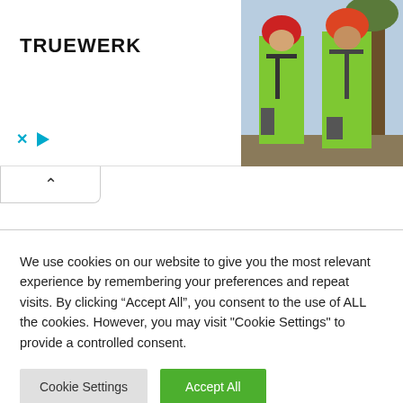[Figure (photo): Advertisement banner showing TRUEWERK logo on left and two workers in green shirts and helmets on right side]
[Figure (other): Collapse/minimize tab with upward chevron arrow]
We use cookies on our website to give you the most relevant experience by remembering your preferences and repeat visits. By clicking “Accept All”, you consent to the use of ALL the cookies. However, you may visit "Cookie Settings" to provide a controlled consent.
Cookie Settings
Accept All